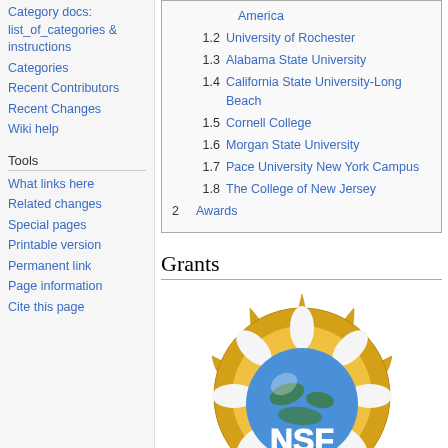Category docs: list_of_categories & instructions
Categories
Recent Contributors
Recent Changes
Wiki help
Tools
What links here
Related changes
Special pages
Printable version
Permanent link
Page information
Cite this page
| America |
| 1.2 | University of Rochester |
| 1.3 | Alabama State University |
| 1.4 | California State University-Long Beach |
| 1.5 | Cornell College |
| 1.6 | Morgan State University |
| 1.7 | Pace University New York Campus |
| 1.8 | The College of New Jersey |
| 2 | Awards |
Grants
[Figure (logo): NSF (National Science Foundation) logo — a golden sunburst surrounding a globe with 'NSF' text, partially cropped at bottom]